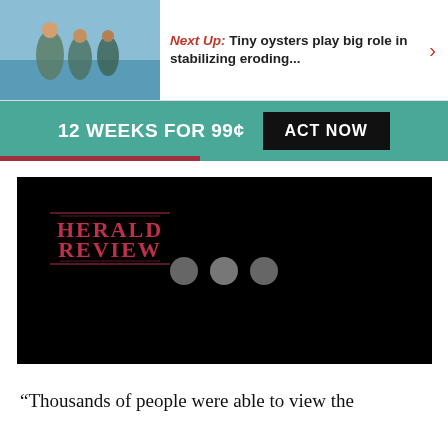Next Up: Tiny oysters play big role in stabilizing eroding...
[Figure (infographic): Teal promotional banner: 12 WEEKS FOR 99¢ with ACT NOW button]
[Figure (screenshot): Herald Review video player with black background, Herald Review logo in upper left, and three loading dots in center]
“Thousands of people were able to view the